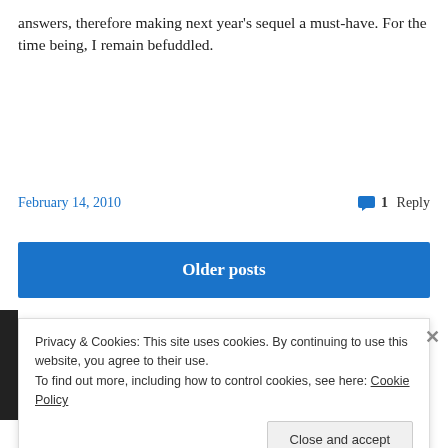answers, therefore making next year's sequel a must-have. For the time being, I remain befuddled.
February 14, 2010   1 Reply
Older posts
Privacy & Cookies: This site uses cookies. By continuing to use this website, you agree to their use.
To find out more, including how to control cookies, see here: Cookie Policy
Close and accept